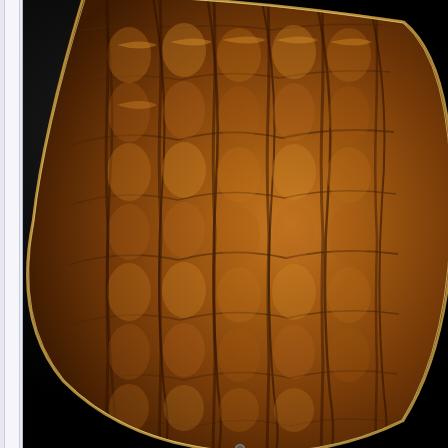[Figure (photo): Close-up photograph of a guitar body showing quilted maple wood grain with a warm amber/brown finish. The highly figured wood displays a dramatic quilted or puffed pattern with deep shadows and golden-orange highlights. A thin binding is visible along the curved edge of the guitar body. The background is black. On the far left edge is a narrow white/light gray vertical bar or scroll indicator from a web browser or document viewer.]